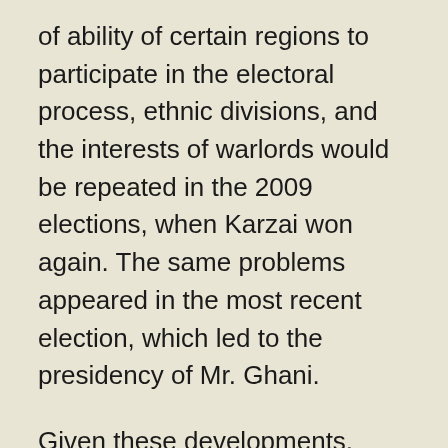of ability of certain regions to participate in the electoral process, ethnic divisions, and the interests of warlords would be repeated in the 2009 elections, when Karzai won again. The same problems appeared in the most recent election, which led to the presidency of Mr. Ghani.
Given these developments, what is the importance of Afghanistan in the geopolitical landscape of Asia and the global fight against terrorism? After the failure of the Iraq War, the United States turned its focus back to Afghanistan, which was posed as a necessity. Thus, President Barack Obama has tried to keep